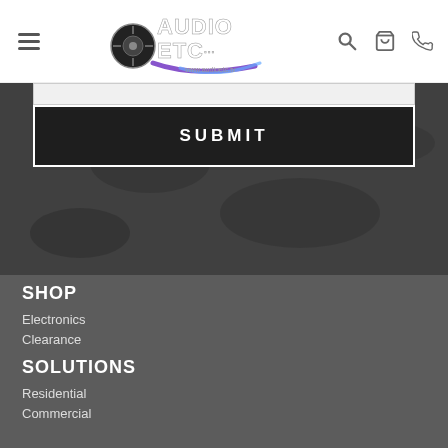Audio ETC logo, hamburger menu, search, cart, phone icons
[Figure (screenshot): Submit button on dark leather-textured background]
SHOP
Electronics
Clearance
SOLUTIONS
Residential
Commercial